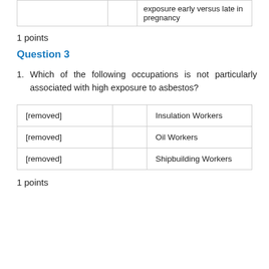|  |  | exposure early versus late in pregnancy |
1 points
Question 3
1. Which of the following occupations is not particularly associated with high exposure to asbestos?
| [removed] |  | Insulation Workers |
| [removed] |  | Oil Workers |
| [removed] |  | Shipbuilding Workers |
1 points